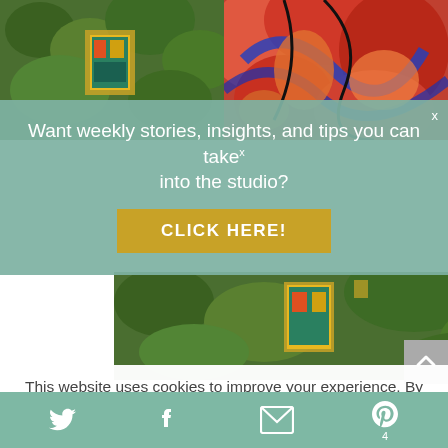[Figure (photo): Top photo collage: left side shows green foliage with colorful artwork hanging; right side shows vibrant colorful abstract painting with reds, blues, oranges]
Want weekly stories, insights, and tips you can take into the studio?
CLICK HERE!
[Figure (photo): Bottom portion of the same photo collage: left shows green plants with painting, right shows colorful abstract art]
“These are monotypes created with Caligo printing ink. The challenge was to incorporate another medium into my prints so chalk pastel, neo pastel and oil pastel
This website uses cookies to improve your experience. By continuing to use this site, you agree to our use of
Twitter  Facebook  Email  Pinterest  4